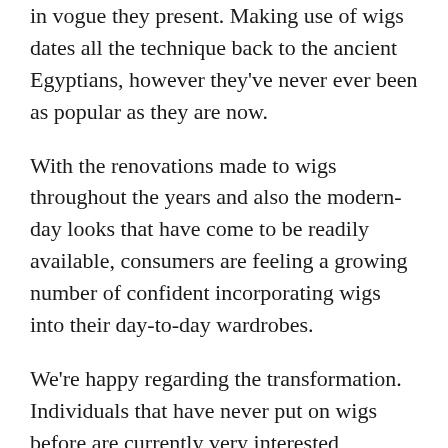in vogue they present. Making use of wigs dates all the technique back to the ancient Egyptians, however they've never ever been as popular as they are now.
With the renovations made to wigs throughout the years and also the modern-day looks that have come to be readily available, consumers are feeling a growing number of confident incorporating wigs into their day-to-day wardrobes.
We're happy regarding the transformation. Individuals that have never put on wigs before are currently very interested regarding them. We have actually created the top 8 factors why you must entirely use a wig.